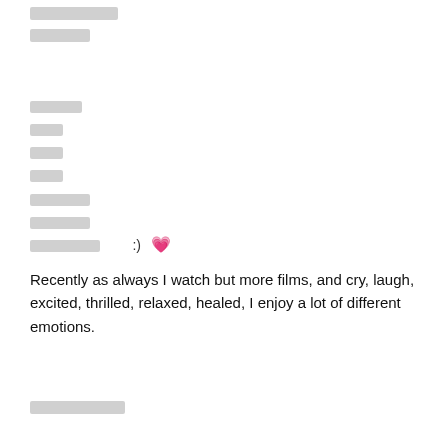[redacted line 1]
[redacted line 2]
[redacted block]
Recently as always I watch but more films, and cry, laugh, excited, thrilled, relaxed, healed, I enjoy a lot of different emotions.
[redacted line bottom]